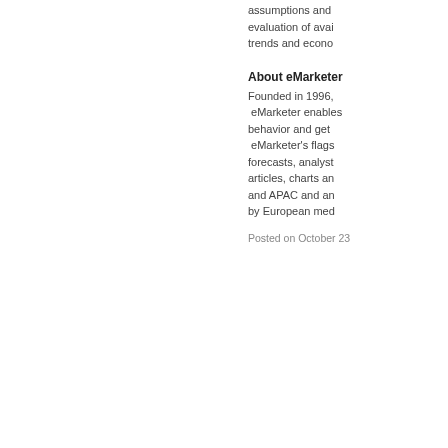assumptions and evaluation of avai trends and econo
About eMarketer
Founded in 1996, eMarketer enables behavior and get eMarketer's flags forecasts, analyst articles, charts and APAC and ar by European med
Posted on October 23